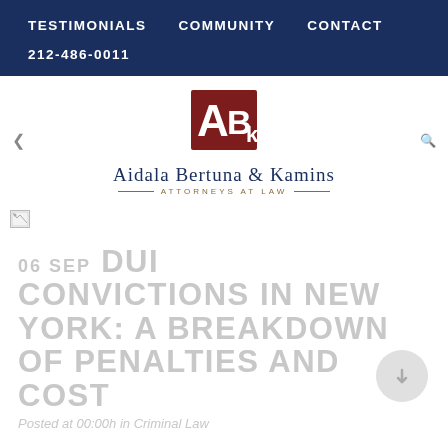TESTIMONIALS   COMMUNITY   CONTACT
212-486-0011
[Figure (logo): ABK logo — dark red square with white letters ABk, above 'Aidala Bertuna & Kamins – Attorneys at Law']
[Figure (photo): Broken/unloaded image placeholder]
06 SEP DUI CONVICTIONS IN NEW YORK: A BREAKDOWN OF PENALTIES AND COST
Posted at 00:00h in Criminal Law